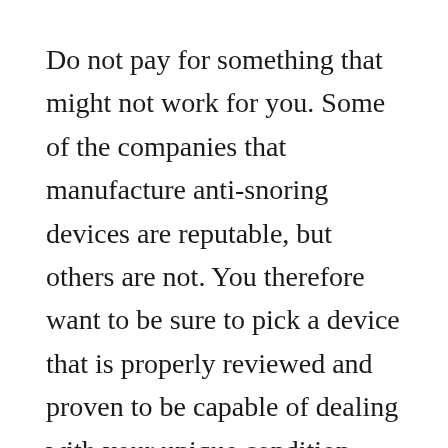Do not pay for something that might not work for you. Some of the companies that manufacture anti-snoring devices are reputable, but others are not. You therefore want to be sure to pick a device that is properly reviewed and proven to be capable of dealing with your unique condition.
In our reviews, we cover every factor that you should take into account when choosing the best solution sleep for your situation. We reveal everything about the product including if it